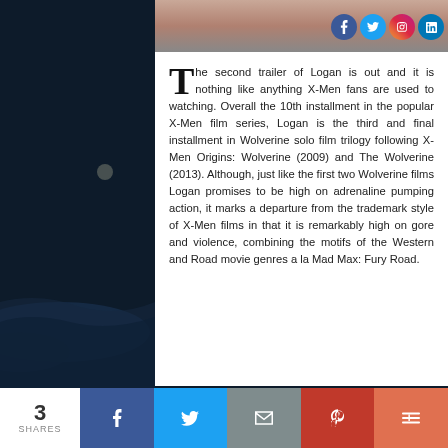[Figure (photo): Top portion of an image showing hands, partially visible at top of page]
The second trailer of Logan is out and it is nothing like anything X-Men fans are used to watching. Overall the 10th installment in the popular X-Men film series, Logan is the third and final installment in Wolverine solo film trilogy following X-Men Origins: Wolverine (2009) and The Wolverine (2013). Although, just like the first two Wolverine films Logan promises to be high on adrenaline pumping action, it marks a departure from the trademark style of X-Men films in that it is remarkably high on gore and violence, combining the motifs of the Western and Road movie genres a la Mad Max: Fury Road.
[Figure (photo): Dark atmospheric background image with moonscape and figure in spacesuit on the right side]
3 SHARES